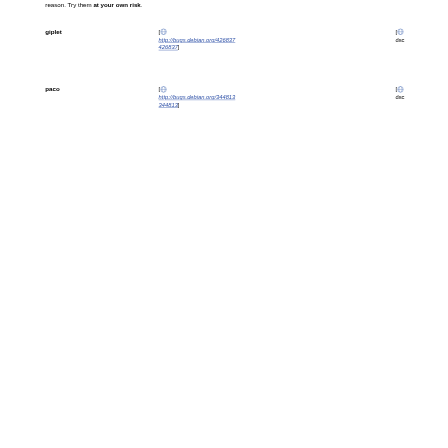reason. Try them at your own risk.
giplet [ http://bugs.debian.org/426837 426837]
paco [ http://bugs.debian.org/344813 344813]
libtranslate [ http://bugs.debian.org/292907 292907] [ http://bugs.debian.org/418329 418329]
gnome-translate [ http://bugs.debian.org/462936 462936]
gfxboot [ http://bugs.debian.org/465768 465768]